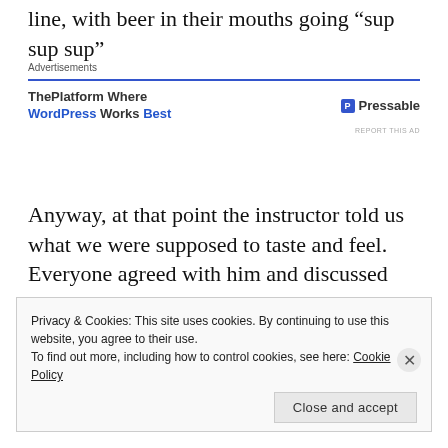line, with beer in their mouths going “sup sup sup”
[Figure (screenshot): Advertisement banner for Pressable: 'ThePlatform Where WordPress Works Best' with Pressable logo]
Anyway, at that point the instructor told us what we were supposed to taste and feel. Everyone agreed with him and discussed exactly what their experience was. Truthfully, I have to say they are liars. Bonefide, bare-faced, old-school liars! I’ll tell you what it tasted like:
Beer! It felt like beer too.
Privacy & Cookies: This site uses cookies. By continuing to use this website, you agree to their use. To find out more, including how to control cookies, see here: Cookie Policy